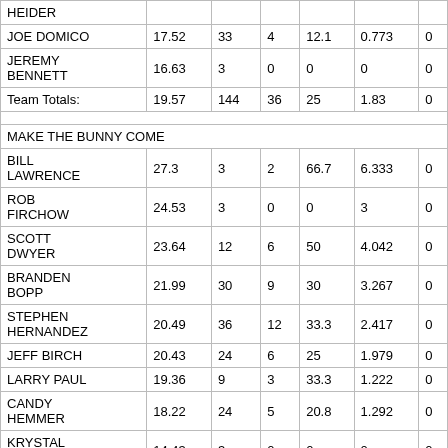| NAME | AVG | GP | W | W% | PPG |  |
| --- | --- | --- | --- | --- | --- | --- |
| HEIDER |  |  |  |  |  |  |
| JOE DOMICO | 17.52 | 33 | 4 | 12.1 | 0.773 | 0 |
| JEREMY BENNETT | 16.63 | 3 | 0 | 0 | 0 | 0 |
| Team Totals: | 19.57 | 144 | 36 | 25 | 1.83 | 0 |
| MAKE THE BUNNY COME |  |  |  |  |  |  |
| BILL LAWRENCE | 27.3 | 3 | 2 | 66.7 | 6.333 | 0 |
| ROB FIRCHOW | 24.53 | 3 | 0 | 0 | 3 | 0 |
| SCOTT DWYER | 23.64 | 12 | 6 | 50 | 4.042 | 0 |
| BRANDEN BOPP | 21.99 | 30 | 9 | 30 | 3.267 | 0 |
| STEPHEN HERNANDEZ | 20.49 | 36 | 12 | 33.3 | 2.417 | 0 |
| JEFF BIRCH | 20.43 | 24 | 6 | 25 | 1.979 | 0 |
| LARRY PAUL | 19.36 | 9 | 3 | 33.3 | 1.222 | 0 |
| CANDY HEMMER | 18.22 | 24 | 5 | 20.8 | 1.292 | 0 |
| KRYSTAL HERNANDEZ | 14.43 | 3 | 0 | 0 | 0 | 0 |
| Team Totals: | 20.63 | 144 | 43 | 29.9 | 2.438 | 0 |